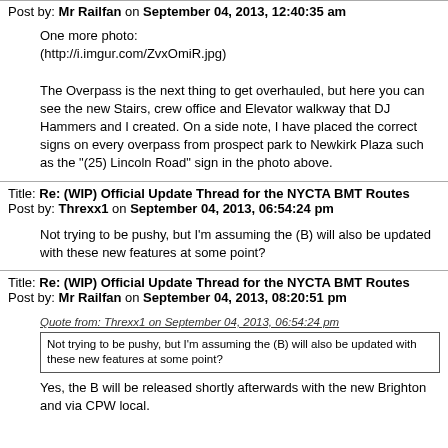Post by: Mr Railfan on September 04, 2013, 12:40:35 am
One more photo:
(http://i.imgur.com/ZvxOmiR.jpg)

The Overpass is the next thing to get overhauled, but here you can see the new Stairs, crew office and Elevator walkway that DJ Hammers and I created. On a side note, I have placed the correct signs on every overpass from prospect park to Newkirk Plaza such as the "(25) Lincoln Road" sign in the photo above.
Title: Re: (WIP) Official Update Thread for the NYCTA BMT Routes
Post by: Threxx1 on September 04, 2013, 06:54:24 pm
Not trying to be pushy, but I'm assuming the (B) will also be updated with these new features at some point?
Title: Re: (WIP) Official Update Thread for the NYCTA BMT Routes
Post by: Mr Railfan on September 04, 2013, 08:20:51 pm
Quote from: Threxx1 on September 04, 2013, 06:54:24 pm
Not trying to be pushy, but I'm assuming the (B) will also be updated with these new features at some point?
Yes, the B will be released shortly afterwards with the new Brighton and via CPW local.